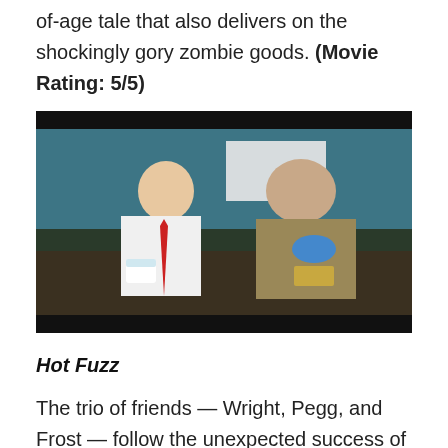of-age tale that also delivers on the shockingly gory zombie goods. (Movie Rating: 5/5)
[Figure (photo): Movie still showing two men sitting on a couch: one in a white shirt with a red tie holding a mug, the other in a khaki t-shirt eating something. The image has a dark letterbox frame.]
Hot Fuzz
The trio of friends — Wright, Pegg, and Frost — follow the unexpected success of their first team-up with another adoring homage to the genre-specific